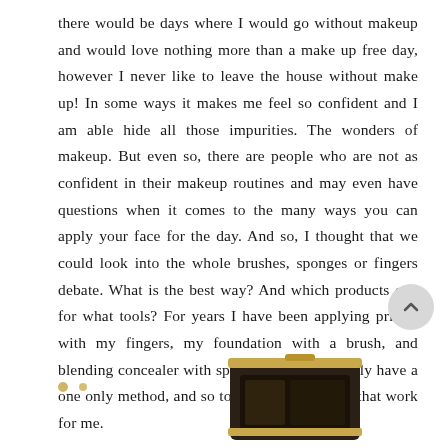there would be days where I would go without makeup and would love nothing more than a make up free day, however I never like to leave the house without make up! In some ways it makes me feel so confident and I am able hide all those impurities. The wonders of makeup. But even so, there are people who are not as confident in their makeup routines and may even have questions when it comes to the many ways you can apply your face for the day. And so, I thought that we could look into the whole brushes, sponges or fingers debate. What is the best way? And which products call for what tools? For years I have been applying primer with my fingers, my foundation with a brush, and blending concealer with sponge. So I don't really have a one only method, and so to speak I have ways that work for me.
[Figure (photo): Bottom portion of a makeup product (likely a compact or palette) with gold decorative dots on a white background, partially visible at the bottom of the page. A circular scroll-to-top button with an upward chevron is overlaid on the right side.]